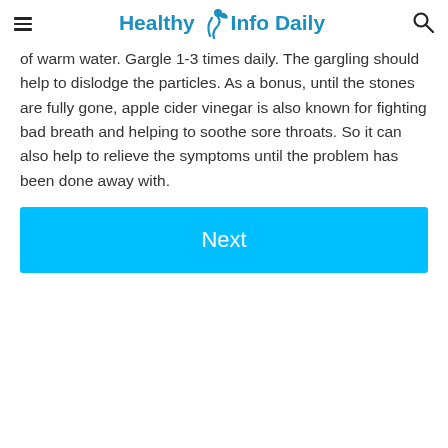Healthy Info Daily
of warm water. Gargle 1-3 times daily. The gargling should help to dislodge the particles. As a bonus, until the stones are fully gone, apple cider vinegar is also known for fighting bad breath and helping to soothe sore throats. So it can also help to relieve the symptoms until the problem has been done away with.
Next